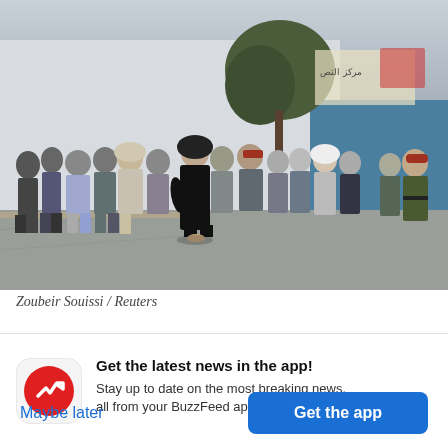[Figure (photo): A crowd of people standing in a long queue along a wall outside a white building, with a tree and Arabic writing on posters visible in the background. A woman in a black hijab and abaya is prominent in the center. A soldier in a red beret stands at the right edge.]
Zoubeir Souissi / Reuters
Get the latest news in the app! Stay up to date on the most breaking news, all from your BuzzFeed app.
Maybe later
Get the app